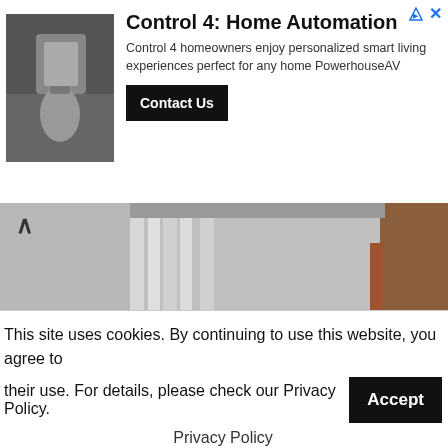[Figure (advertisement): Control 4 Home Automation ad banner with photo of person using smart home panel, Contact Us button, and ad icons]
Control 4: Home Automation
Control 4 homeowners enjoy personalized smart living experiences perfect for any home PowerhouseAV
[Figure (photo): Security camera fisheye view of hallway/corridor with white walls, showing a person walking away]
The potential threat of theft, is an unfortunate fact of life, for business and home owners alike.  Burglar alarm systems are installed regularly in the hopes of not adding to an astounding statistic: In 2013 alone $4.5 billion in property loss was the
This site uses cookies. By continuing to use this website, you agree to their use. For details, please check our Privacy Policy.
Privacy Policy